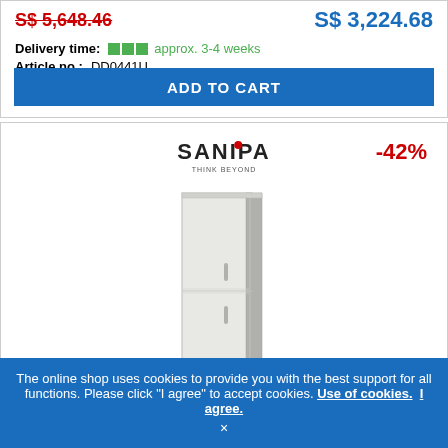S$ 5,648.46 (strikethrough) | S$ 3,224.68
Delivery time: approx. 3-4 weeks
Article no.: DD0441U
ADD TO CART
[Figure (logo): SANIPA brand logo with red dot and tagline, and -42% discount badge]
[Figure (photo): Tall white bathroom cabinet/wardrobe product photo]
The online shop uses cookies to provide you with the best support for all functions. Please click "I agree" to accept cookies. Use of cookies. I agree.